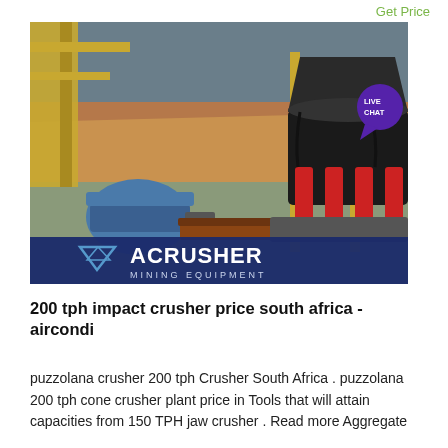Get Price
[Figure (photo): Industrial mining equipment setup outdoors showing a large cone crusher (ACRUSHER Mining Equipment) with a blue electric motor on the left, red hydraulic components, steel framework, conveyor belts, and a mining pit landscape in the background. ACRUSHER MINING EQUIPMENT logo visible at the bottom of the image.]
200 tph impact crusher price south africa - aircondi
puzzolana crusher 200 tph Crusher South Africa . puzzolana 200 tph cone crusher plant price in Tools that will attain capacities from 150 TPH jaw crusher . Read more Aggregate